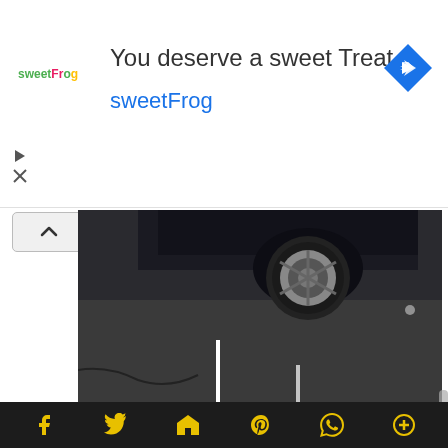[Figure (screenshot): sweetFrog advertisement banner with logo, text 'You deserve a sweet Treat', 'sweetFrog', and Google Maps navigation icon]
[Figure (photo): Black and white photo of the underside/wheel of a dark SUV parked in a parking lot with asphalt and painted lines]
2022 Honda Passport TrailSport Review by Ben Lewis
Let's play a game. If we say name an outdoorsy off-road manufacturer, what would you say? Jeep? Land Rover? Toyota? How about Honda? Probably not. But that's no fault of the vehicles, but one of perception. Honda has been making some tough, capable all-terrain vehicles for some time, but they haven't been
[Figure (screenshot): Bottom navigation bar with social media icons: Facebook, Twitter, Email, Pinterest, WhatsApp, Plus]